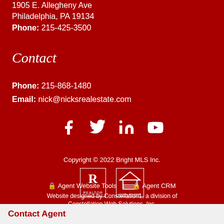1905 E. Allegheny Ave
Philadelphia, PA 19134
Phone: 215-425-3500
Contact
Phone: 215-868-1480
Email: nick@nicksrealestate.com
[Figure (infographic): Social media icons: Facebook, Twitter, LinkedIn, YouTube]
Copyright © 2022 Bright MLS Inc.
[Figure (logo): Realtor logo and Equal Housing Opportunity logo]
🔒 Agent Website Tools   🔒 Agent CRM
Website designed by Constellation1, a division of Constellation Web Solutions, Inc.
Contact Agent